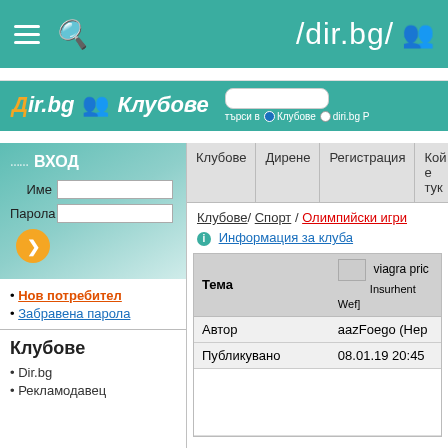/dir.bg/
[Figure (screenshot): Dir.bg Клубове logo bar with search options for Клубове and diri.bg]
| Клубове | Дирене | Регистрация | Кой е тук |
| --- | --- | --- | --- |
Клубове / Спорт / Олимпийски игри
Информация за клуба
| Тема | viagra pric Insurhent Wef] |
| --- | --- |
| Автор | aazFoego (Нер |
| Публикувано | 08.01.19 20:45 |
ВХОД
Име
Парола
Нов потребител
Забравена парола
Клубове
Dir.bg
Рекламодавец